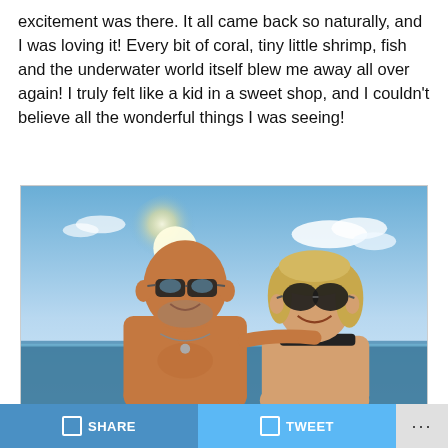excitement was there. It all came back so naturally, and I was loving it! Every bit of coral, tiny little shrimp, fish and the underwater world itself blew me away all over again! I truly felt like a kid in a sweet shop, and I couldn't believe all the wonderful things I was seeing!
[Figure (photo): A man and a woman smiling at the camera outdoors by the sea. The man is bald, wearing reflective sunglasses and a necklace, shirtless. The woman has blonde hair, wearing dark sunglasses and a black top. Bright sky with clouds in the background.]
SHARE   TWEET   ...